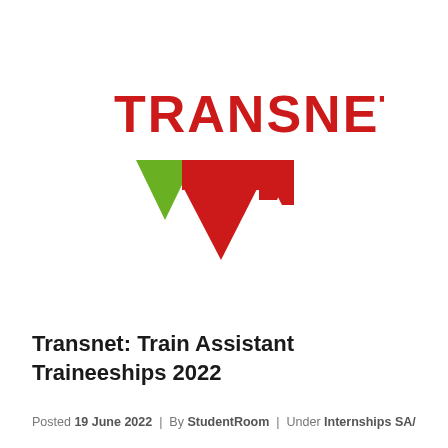[Figure (logo): Transnet company logo: red bold text 'TRANSNET' above a stylized T-shape mark with a green left triangle and red right arrow/chevron shape]
Transnet: Train Assistant Traineeships 2022
Posted 19 June 2022 | By StudentRoom | Under Internships SA/